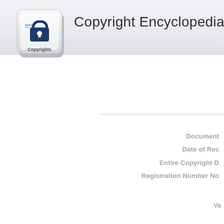[Figure (logo): Copyright key logo — a keyboard key with a padlock and document icon, labeled 'Copyrights']
Copyright Encyclopedia
Document
Date of Re...
Entire Copyright D...
Registration Number No...
Va...